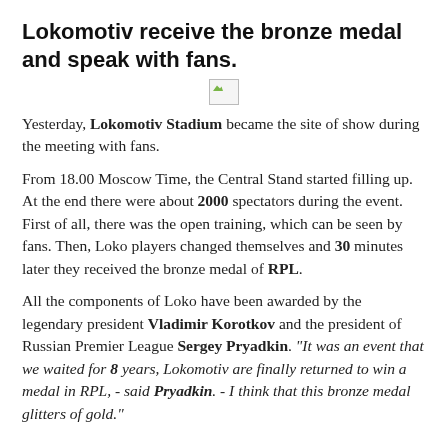Lokomotiv receive the bronze medal and speak with fans.
[Figure (photo): Broken/missing image placeholder]
Yesterday, Lokomotiv Stadium became the site of show during the meeting with fans.
From 18.00 Moscow Time, the Central Stand started filling up. At the end there were about 2000 spectators during the event. First of all, there was the open training, which can be seen by fans. Then, Loko players changed themselves and 30 minutes later they received the bronze medal of RPL.
All the components of Loko have been awarded by the legendary president Vladimir Korotkov and the president of Russian Premier League Sergey Pryadkin. "It was an event that we waited for 8 years, Lokomotiv are finally returned to win a medal in RPL, - said Pryadkin. - I think that this bronze medal glitters of gold."